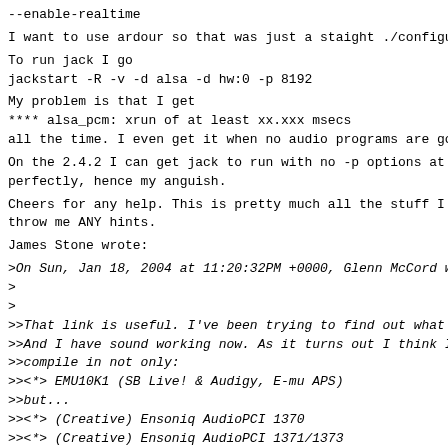--enable-realtime
I want to use ardour so that was just a staight ./configu
To run jack I go
jackstart -R -v -d alsa -d hw:0 -p 8192
My problem is that I get
**** alsa_pcm: xrun of at least xx.xxx msecs
all the time. I even get it when no audio programs are go
On the 2.4.2 I can get jack to run with no -p options at
perfectly, hence my anguish.
Cheers for any help. This is pretty much all the stuff I
throw me ANY hints.
James Stone wrote:
>On Sun, Jan 18, 2004 at 11:20:32PM +0000, Glenn McCord w
>
>
>>That link is useful. I've been trying to find out what
>>And I have sound working now. As it turns out I think I
>>compile in not only:
>><*> EMU10K1 (SB Live! & Audigy, E-mu APS)
>>but...
>><*> (Creative) Ensoniq AudioPCI 1370
>><*> (Creative) Ensoniq AudioPCI 1371/1373
>>aswell.